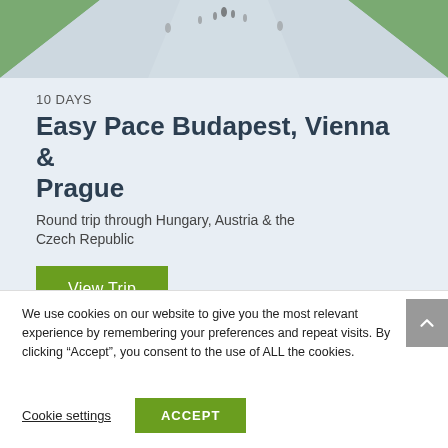[Figure (photo): Top photo of a wide pathway or promenade with people walking, green grass on sides, perspective view toward the horizon]
10 DAYS
Easy Pace Budapest, Vienna & Prague
Round trip through Hungary, Austria & the Czech Republic
View Trip
We use cookies on our website to give you the most relevant experience by remembering your preferences and repeat visits. By clicking “Accept”, you consent to the use of ALL the cookies.
Cookie settings
ACCEPT